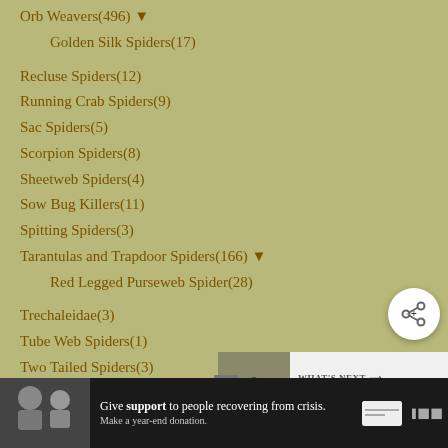Orb Weavers(496) ▼
Golden Silk Spiders(17)
Recluse Spiders(12)
Running Crab Spiders(9)
Sac Spiders(5)
Scorpion Spiders(8)
Sheetweb Spiders(4)
Sow Bug Killers(11)
Spitting Spiders(3)
Tarantulas and Trapdoor Spiders(166) ▼
Red Legged Purseweb Spider(28)
Trechaleidae(3)
Tube Web Spiders(1)
Two Tailed Spiders(3)
Wall Spiders(5)
Wandering Spiders(13)
Wolf Spiders(113)
Springtails(131)
[Figure (screenshot): Share button (circular white button with share icon)]
[Figure (screenshot): What's Next promo box with image of American Pelecinid insect]
[Figure (screenshot): Advertisement banner: Give support to people recovering from crisis. Make a year-end donation.]